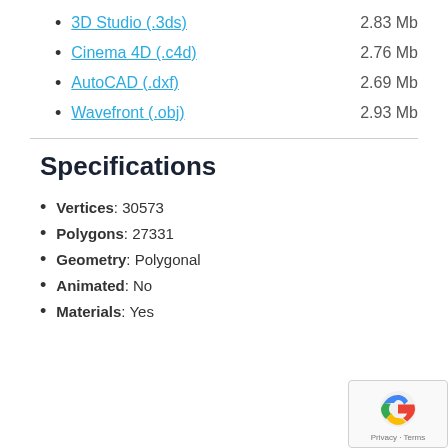3D Studio (.3ds)  2.83 Mb
Cinema 4D (.c4d)  2.76 Mb
AutoCAD (.dxf)  2.69 Mb
Wavefront (.obj)  2.93 Mb
Specifications
Vertices: 30573
Polygons: 27331
Geometry: Polygonal
Animated: No
Materials: Yes